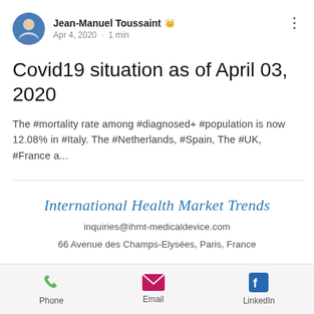Jean-Manuel Toussaint · Apr 4, 2020 · 1 min
Covid19 situation as of April 03, 2020
The #mortality rate among #diagnosed+ #population is now 12.08% in #Italy. The #Netherlands, #Spain, The #UK, #France a...
International Health Market Trends
inquiries@ihmt-medicaldevice.com
66 Avenue des Champs-Elysées, Paris, France
Phone  Email  LinkedIn